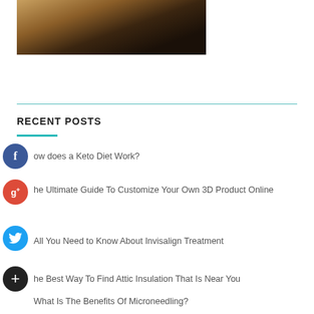[Figure (photo): Partial photo of a person with blonde/dark hair against a dark background]
RECENT POSTS
How does a Keto Diet Work?
The Ultimate Guide To Customize Your Own 3D Product Online
All You Need to Know About Invisalign Treatment
The Best Way To Find Attic Insulation That Is Near You
What Is The Benefits Of Microneedling?